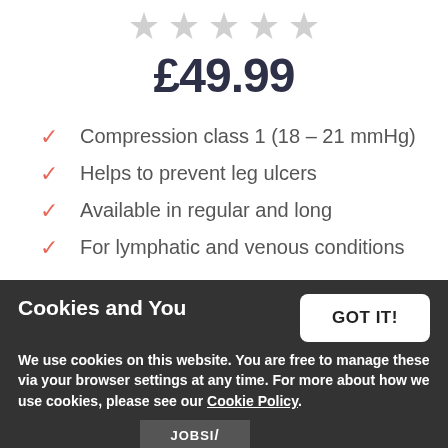[Figure (other): Five star rating icons (greyed out) at the top of the page]
£49.99
Compression class 1 (18 – 21 mmHg)
Helps to prevent leg ulcers
Available in regular and long
For lymphatic and venous conditions
[Figure (other): Full Details button — salmon/coral rounded rectangle button]
Cookies and You
We use cookies on this website. You are free to manage these via your browser settings at any time. For more about how we use cookies, please see our Cookie Policy.
[Figure (other): GOT IT! button — white rounded rectangle button on dark cookie banner]
[Figure (other): JOBSI/ logo or image at the bottom partially visible]